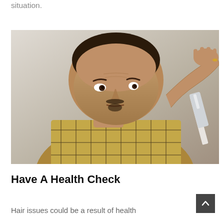situation.
[Figure (photo): A middle-aged Asian man with a shaved head touching his scalp with one hand and holding a mirror with the other, looking concerned about hair loss. He is wearing a yellow and black plaid shirt against a light gray background.]
Have A Health Check
Hair issues could be a result of health